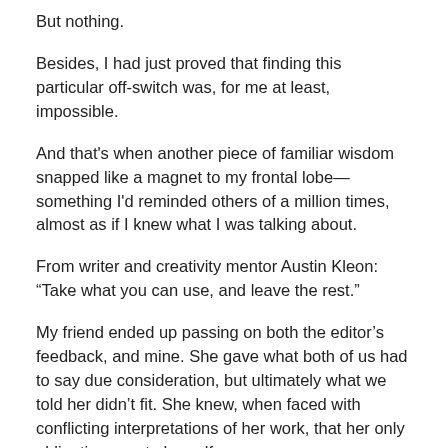But nothing.
Besides, I had just proved that finding this particular off-switch was, for me at least, impossible.
And that's when another piece of familiar wisdom snapped like a magnet to my frontal lobe—something I'd reminded others of a million times, almost as if I knew what I was talking about.
From writer and creativity mentor Austin Kleon: “Take what you can use, and leave the rest.”
My friend ended up passing on both the editor’s feedback, and mine. She gave what both of us had to say due consideration, but ultimately what we told her didn’t fit. She knew, when faced with conflicting interpretations of her work, that her only obligation was to herself.